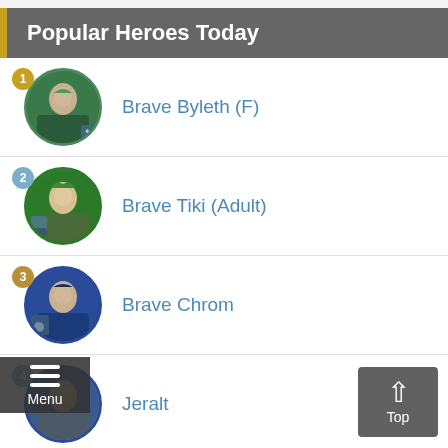Popular Heroes Today
1 Brave Byleth (F)
2 Brave Tiki (Adult)
3 Brave Chrom
4 Jeralt
5 (partial)